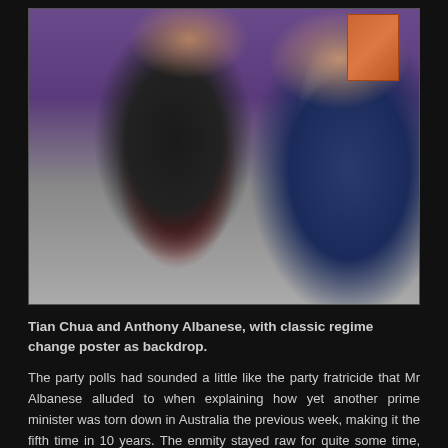[Figure (photo): Two men standing together indoors. The man on the left wears a dark jacket over a red sweater. The man on the right wears a navy blue suit with a white shirt and grey striped tie. A framed poster or artwork is visible in the background.]
Tian Chua and Anthony Albanese, with classic regime change poster as backdrop.
The party polls had sounded a little like the party fratricide that Mr Albanese alluded to when explaining how yet another prime minister was torn down in Australia the previous week, making it the fifth time in 10 years. The enmity stayed raw for quite some time, and a brutal contest for party power was no way to ensure stability and purpose when in government.